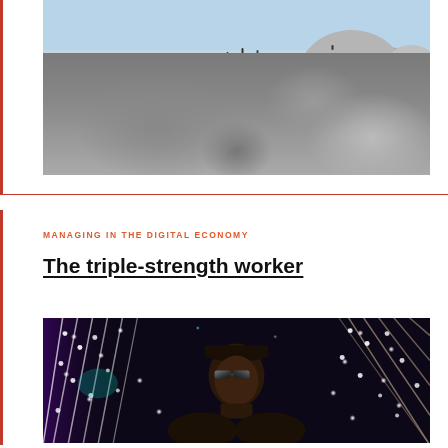[Figure (photo): Aerial landscape photo of large rocky boulders and granite formations with tiny human figures visible on top, blue sky in background]
MANAGING IN THE DIGITAL ECONOMY
The triple-strength worker
[Figure (photo): Portrait photo of a young Black man wearing a cap and reflective/sparkly sunglasses, looking upward, surrounded by diagonal strips of bright white lights against a dark background]